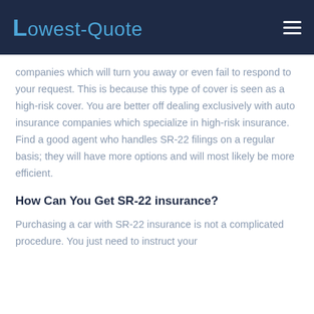Lowest-Quote
companies which will turn you away or even fail to respond to your request. This is because this type of cover is seen as a high-risk cover. You are better off dealing exclusively with auto insurance companies which specialize in high-risk insurance. Find a good agent who handles SR-22 filings on a regular basis; they will have more options and will most likely be more efficient.
How Can You Get SR-22 insurance?
Purchasing a car with SR-22 insurance is not a complicated procedure. You just need to instruct your